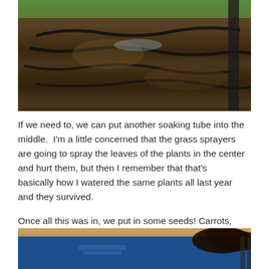[Figure (photo): Photo of irrigation/soaking hoses laid on dark soil with a green lawn visible in the background and a dark metal post or fence on the right side]
If we need to, we can put another soaking tube into the middle.  I'm a little concerned that the grass sprayers are going to spray the leaves of the plants in the center and hurt them, but then I remember that that's basically how I watered the same plants all last year and they survived.
Once all this was in, we put in some seeds! Carrots, peas, and lettuce.
[Figure (photo): Photo of a person wearing a blue sweatshirt bending down, appearing to plant or work in a garden area]